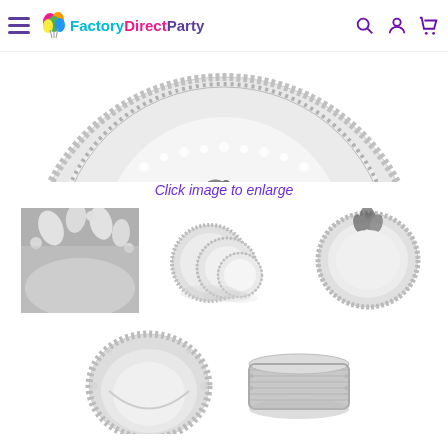Factory Direct Party navigation header with logo and icons
[Figure (photo): Close-up top view of a decorative white plastic plate with silver floral/leaf border pattern, partially cropped showing top half of stacked plates]
Click image to enlarge
[Figure (photo): Close-up of silver floral border detail on white plate edge]
[Figure (photo): Set of three white plastic plates with silver floral border, stacked at different angles showing size variations]
[Figure (photo): Single round white plastic plate with silver floral border, top-down view]
[Figure (photo): White plastic bowl with silver floral/scalloped border, top-down view]
[Figure (photo): Side view of stacked white plates with silver border showing thickness/profile]